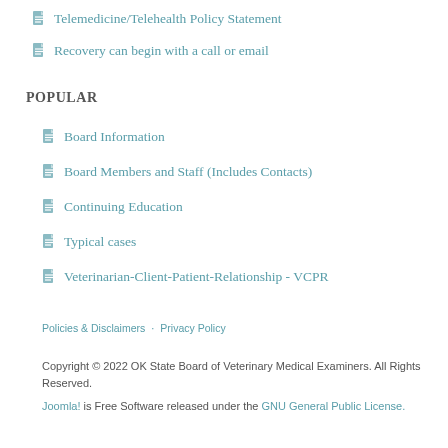Telemedicine/Telehealth Policy Statement
Recovery can begin with a call or email
POPULAR
Board Information
Board Members and Staff (Includes Contacts)
Continuing Education
Typical cases
Veterinarian-Client-Patient-Relationship - VCPR
Policies & Disclaimers · Privacy Policy
Copyright © 2022 OK State Board of Veterinary Medical Examiners. All Rights Reserved.
Joomla! is Free Software released under the GNU General Public License.